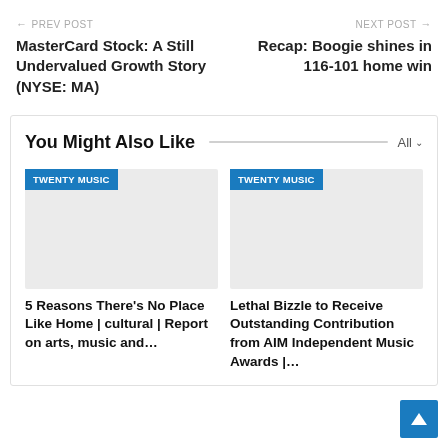← PREV POST
MasterCard Stock: A Still Undervalued Growth Story (NYSE: MA)
NEXT POST →
Recap: Boogie shines in 116-101 home win
You Might Also Like
[Figure (other): Gray placeholder image with TWENTY MUSIC blue tag label]
5 Reasons There's No Place Like Home | cultural | Report on arts, music and…
[Figure (other): Gray placeholder image with TWENTY MUSIC blue tag label]
Lethal Bizzle to Receive Outstanding Contribution from AIM Independent Music Awards |…